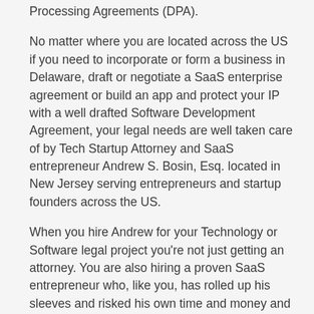Processing Agreements (DPA).
No matter where you are located across the US if you need to incorporate or form a business in Delaware, draft or negotiate a SaaS enterprise agreement or build an app and protect your IP with a well drafted Software Development Agreement, your legal needs are well taken care of by Tech Startup Attorney and SaaS entrepreneur Andrew S. Bosin, Esq. located in New Jersey serving entrepreneurs and startup founders across the US.
When you hire Andrew for your Technology or Software legal project you're not just getting an attorney. You are also hiring a proven SaaS entrepreneur who, like you, has rolled up his sleeves and risked his own time and money and built two SaaS companies with partners.
How many Tech Startup Attorneys have the kind of organic, boots on the ground, hands on experience that Andrew has achieved in building two SaaS